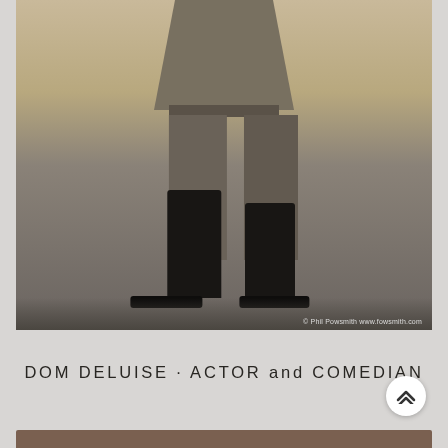[Figure (photo): Black and white photograph showing the lower body of a person wearing a grey suit jacket and trousers with tall black leather boots and black dress shoes. Photo credit: © Phil Powsmith www.fowsmith.com]
© Phil Powsmith  www.fowsmith.com
DOM DELUISE · ACTOR and COMEDIAN